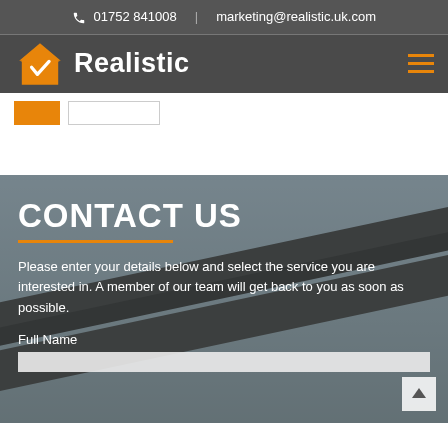01752 841008 | marketing@realistic.uk.com
[Figure (logo): Realistic company logo with orange house icon and white bold text]
CONTACT US
Please enter your details below and select the service you are interested in. A member of our team will get back to you as soon as possible.
Full Name